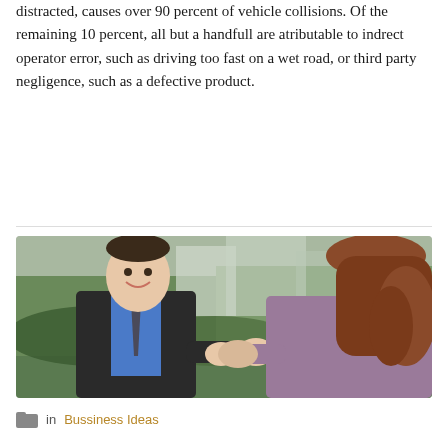distracted, causes over 90 percent of vehicle collisions. Of the remaining 10 percent, all but a handfull are atributable to indrect operator error, such as driving too fast on a wet road, or third party negligence, such as a defective product.
READ MORE
[Figure (photo): Two people shaking hands outdoors. A smiling man in a dark suit with blue shirt and tie shakes hands with a woman with long brown/auburn hair wearing a purple top. Green hedges and buildings visible in background.]
in Bussiness Ideas